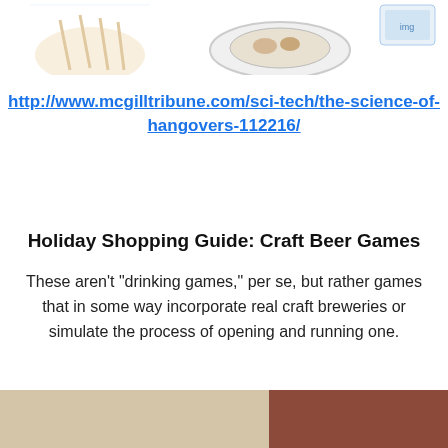[Figure (illustration): Partial illustration at top of page showing cartoon figures and a plate with food, cropped at top]
http://www.mcgilltribune.com/sci-tech/the-science-of-hangovers-112216/
Holiday Shopping Guide: Craft Beer Games
These aren’t “drinking games,” per se, but rather games that in some way incorporate real craft breweries or simulate the process of opening and running one.
[Figure (photo): Partial photo at bottom of page showing what appears to be board games or boxes on a table, cropped]